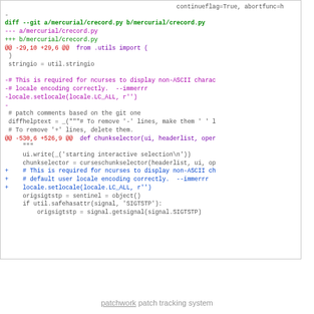[Figure (screenshot): A code diff view showing changes to mercurial/crecord.py with syntax highlighting. Lines shown include git diff header, hunk markers (@@ lines), removed lines in purple/magenta, added lines in blue/green, and context lines in black on white background.]
patchwork patch tracking system